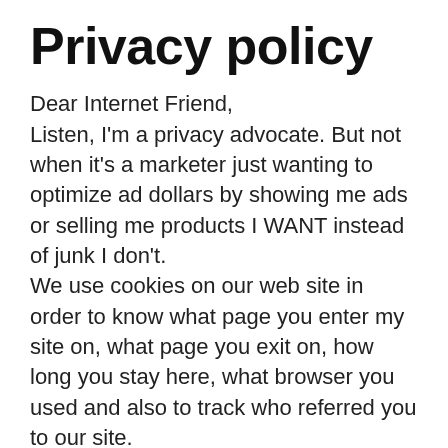Privacy policy
Dear Internet Friend,
Listen, I'm a privacy advocate. But not when it's a marketer just wanting to optimize ad dollars by showing me ads or selling me products I WANT instead of junk I don't.
We use cookies on our web site in order to know what page you enter my site on, what page you exit on, how long you stay here, what browser you used and also to track who referred you to our site.
That's what cookies do.  Nearly everything else you hear about them is b.s. and hysteria.  They are extremely small text files